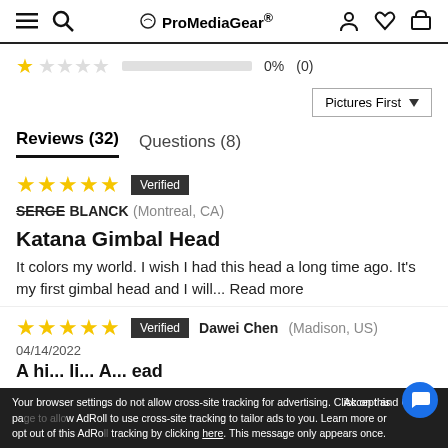≡ 🔍  ProMediaGear®  👤 ♡ 🛒
1 star: 0% (0)
Pictures First ▼
Reviews (32)  Questions (8)
★★★★★ Verified  SERGE BLANCK (Montreal, CA)
Katana Gimbal Head
It colors my world. I wish I had this head a long time ago. It's my first gimbal head and I will... Read more
★★★★★ Verified  Dawei Chen (Madison, US)
04/14/2022
A hi... li...A...ead
Your browser settings do not allow cross-site tracking for advertising. Click on this page to allow AdRoll to use cross-site tracking to tailor ads to you. Learn more or opt out of this AdRoll tracking by clicking here. This message only appears once.